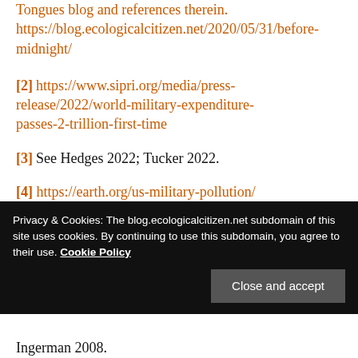Tongues blog and references therein. https://blog.ecologicalcitizen.net/2020/05/31/before-midnight/
[2] https://www.sipri.org/media/press-release/2022/world-military-expenditure-passes-2-trillion-first-time
[3] See Hedges 2022; Tucker 2022.
[4] https://earth.org/us-military-pollution/
[5] According to certain shamanic traditions,
Privacy & Cookies: The blog.ecologicalcitizen.net subdomain of this site uses cookies. By continuing to use this subdomain, you agree to their use. Cookie Policy
Close and accept
Ingerman 2008.